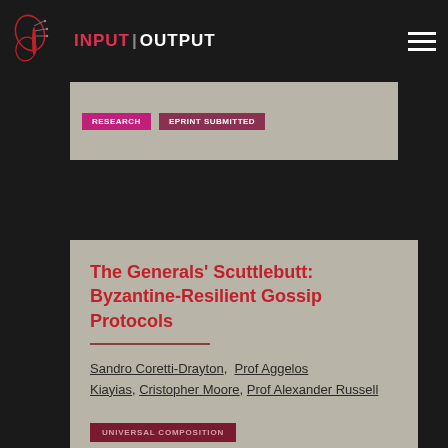INPUT | OUTPUT
[Figure (logo): Input Output company logo with butterfly/circuit motif]
RESEARCH  EPRINT SUBMITTED
The Generals’ Scuttlebutt: Byzantine-Resilient Gossip Protocols
Sandro Coretti-Drayton, Prof Aggelos Kiayias, Cristopher Moore, Prof Alexander Russell
May 2022, ePrint Archive
UNIVERSAL COMPOSITION